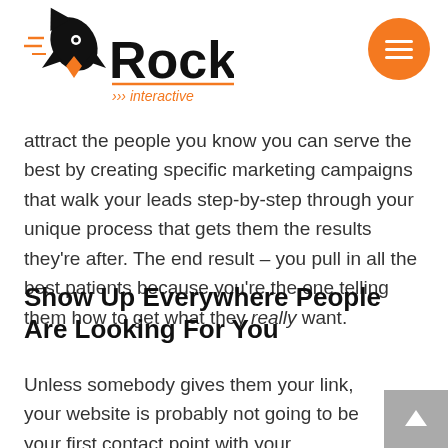RockIT Interactive
attract the people you know you can serve the best by creating specific marketing campaigns that walk your leads step-by-step through your unique process that gets them the results they're after. The end result – you pull in all the best patients because you're the one telling them how to get what they really want.
Show Up Everywhere People Are Looking For You
Unless somebody gives them your link, your website is probably not going to be your first contact point with your patients. Instead, people are going to be looking for you on search engines like Google, social